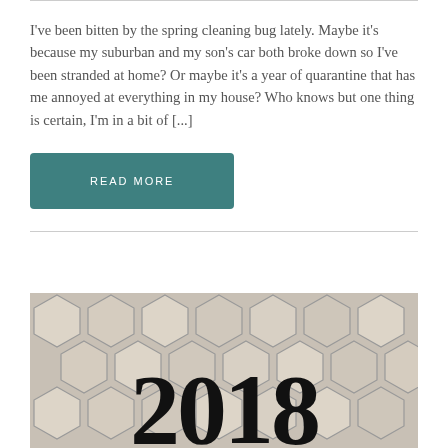I've been bitten by the spring cleaning bug lately. Maybe it's because my suburban and my son's car both broke down so I've been stranded at home? Or maybe it's a year of quarantine that has me annoyed at everything in my house? Who knows but one thing is certain, I'm in a bit of [...]
READ MORE
[Figure (photo): Hexagonal tile background with large bold text '2018' overlaid in black]